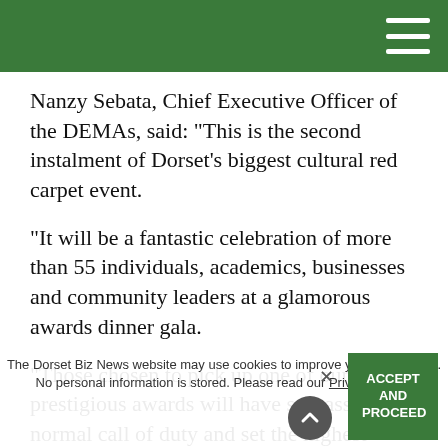Nanzy Sebata, Chief Executive Officer of the DEMAs, said: "This is the second instalment of Dorset's biggest cultural red carpet event.
“It will be a fantastic celebration of more than 55 individuals, academics, businesses and community leaders at a glamorous awards dinner gala.
“Those chosen to pick up one of our prestigious awards will have surpassed the normal call of duty and set the highest standards for innovation, success and commitment to excellence in their given fields."
To vote in this year’s award go to
The Dorset Biz News website may use cookies to improve your experience. No personal information is stored. Please read our Privacy Policy.